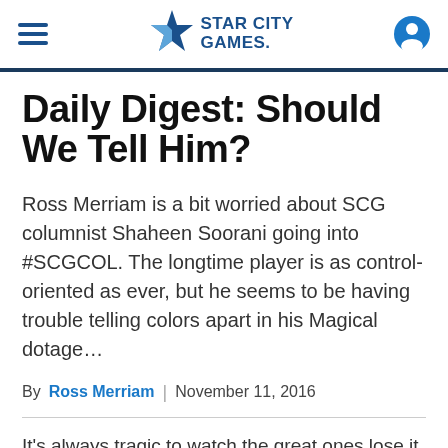Star City Games
Daily Digest: Should We Tell Him?
Ross Merriam is a bit worried about SCG columnist Shaheen Soorani going into #SCGCOL. The longtime player is as control-oriented as ever, but he seems to be having trouble telling colors apart in his Magical dotage…
By Ross Merriam | November 11, 2016
It's always tragic to watch the great ones lose it, but Father